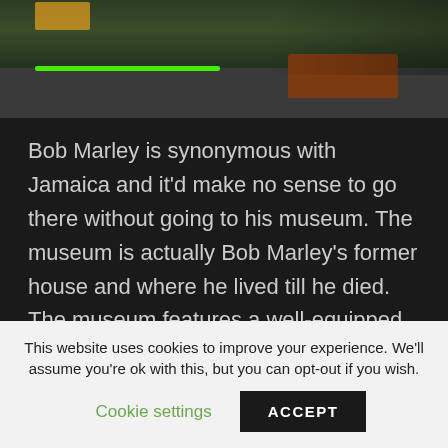[Figure (photo): Exterior photo of Bob Marley Museum showing driveway, green landscaping, orange wooden planters, and iron fence at night]
Bob Marley is synonymous with Jamaica and it'd make no sense to go there without going to his museum. The museum is actually Bob Marley's former house and where he lived till he died. The museum features a well-equipped 80-seat theatre, a photographic gallery, a record shop and a gift shop filled with a wide array of Bob Marley memorabilia.
This website uses cookies to improve your experience. We'll assume you're ok with this, but you can opt-out if you wish.
Cookie settings
ACCEPT